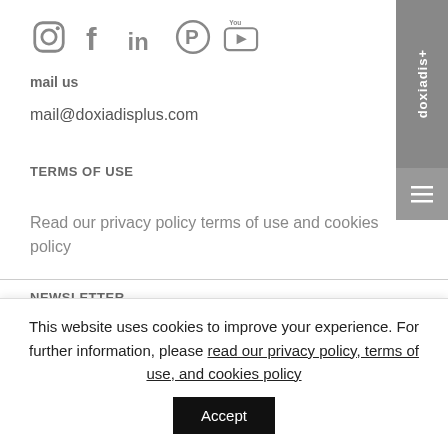[Figure (illustration): Social media icons row: Instagram camera icon, Facebook f icon, LinkedIn in icon, Pinterest P icon, YouTube play button icon — all in gray]
mail us
mail@doxiadisplus.com
TERMS OF USE
Read our privacy policy terms of use and cookies policy
NEWSLETTER
This website uses cookies to improve your experience. For further information, please read our privacy policy, terms of use, and cookies policy
[Figure (illustration): Accept button — black rectangle with white text 'Accept']